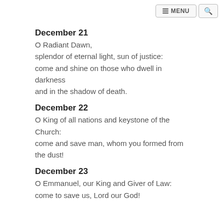MENU
December 21
O Radiant Dawn,
splendor of eternal light, sun of justice:
come and shine on those who dwell in darkness
and in the shadow of death.
December 22
O King of all nations and keystone of the Church:
come and save man, whom you formed from the dust!
December 23
O Emmanuel, our King and Giver of Law:
come to save us, Lord our God!
References